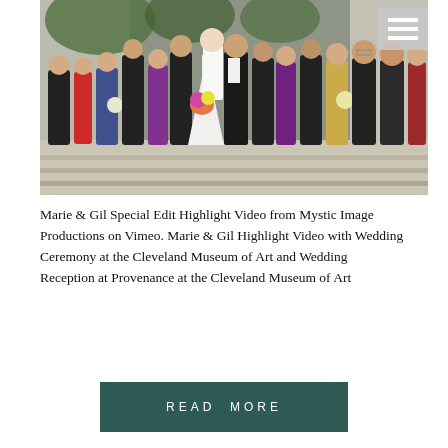[Figure (photo): Wedding party group photo on marble steps of Cleveland Museum of Art. Bride in white gown with bouquet, groom in black tuxedo, bridesmaids in colorful gowns (blue, red, purple, gold), groomsmen in black tuxedos. Large group of approximately 20 people posed outdoors.]
Marie & Gil Special Edit Highlight Video from Mystic Image Productions on Vimeo. Marie & Gil Highlight Video with Wedding Ceremony at the Cleveland Museum of Art and Wedding Reception at Provenance at the Cleveland Museum of Art
READ MORE